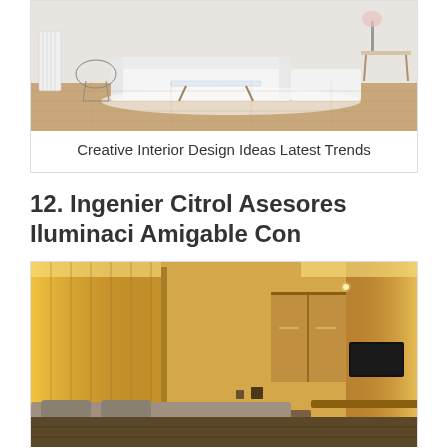[Figure (photo): Interior photo of a modern living room with white sofa, glass coffee table, wire chair, and wooden flooring]
Creative Interior Design Ideas Latest Trends
12. Ingenier Citrol Asesores Iluminaci Amigable Con
[Figure (photo): Interior photo of a modern bedroom with warm LED indirect lighting, wooden panels, bed with grey pillows, and a flat screen TV]
Ingenier Citrol Asesores Iluminaci Amigable Con